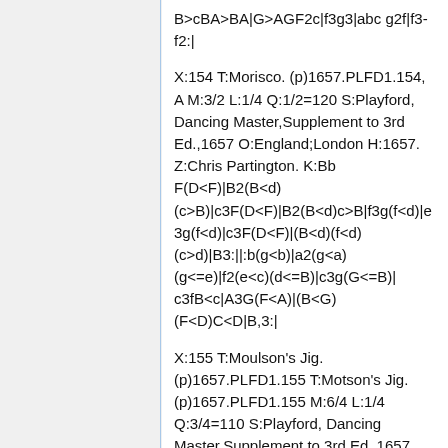B>cBA>BA|G>AGF2c|f3g3|abc g2f|f3-f2:|
X:154 T:Morisco. (p)1657.PLFD1.154, A M:3/2 L:1/4 Q:1/2=120 S:Playford, Dancing Master,Supplement to 3rd Ed.,1657 O:England;London H:1657. Z:Chris Partington. K:Bb F(D<F)|B2(B<d)(c>B)|c3F(D<F)|B2(B<d)c>B|f3g(f<d)|e3g(f<d)|c3F(D<F)|(B<d)(f<d)(c>d)|B3:||:b(g<b)|a2(g<a)(g<=e)|f2(e<c)(d<=B)|c3g(G<=B)| c3fB<c|A3G(F<A)|(B<G)(F<D)C<D|B,3:|
X:155 T:Moulson's Jig. (p)1657.PLFD1.155 T:Motson's Jig. (p)1657.PLFD1.155 M:6/4 L:1/4 Q:3/4=110 S:Playford, Dancing Master,Supplement to 3rd Ed.,1657 O:England;London H:1657. Z:Chris Partington. K:D d|f>gaa>ba|gafefg|f/g/aAc2A|d3-d2B|cdee>de|fefg2a|abf^g2e|a3a2:|